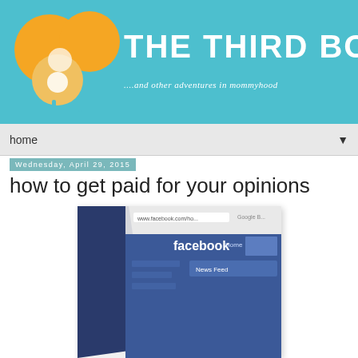[Figure (logo): The Third Boob blog header banner with teal/turquoise background, orange circle logo on the left, and bold white uppercase text 'THE THIRD BOOB' with subtitle '...and other adventures in mommyhood']
home ▼
Wednesday, April 29, 2015
how to get paid for your opinions
[Figure (photo): Close-up photograph of a laptop screen showing Facebook website interface with blue branding and navigation elements visible]
whenever i scroll through the news feed on my facebook, it's